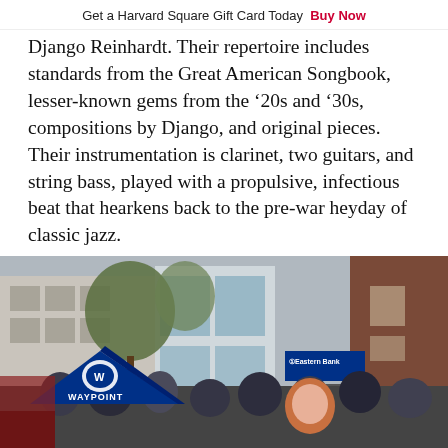Get a Harvard Square Gift Card Today  Buy Now
Django Reinhardt. Their repertoire includes standards from the Great American Songbook, lesser-known gems from the ‘20s and ‘30s, compositions by Django, and original pieces. Their instrumentation is clarinet, two guitars, and string bass, played with a propulsive, infectious beat that hearkens back to the pre-war heyday of classic jazz.
[Figure (photo): Outdoor street event scene in Harvard Square showing a crowd of people, a blue WAYPOINT tent/canopy, Eastern Bank signage on a building, trees, and brick buildings in the background.]